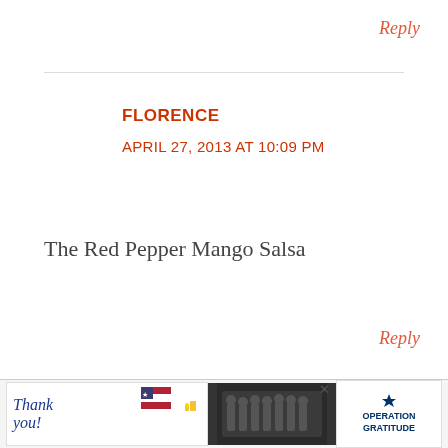Reply
FLORENCE
APRIL 27, 2013 AT 10:09 PM
The Red Pepper Mango Salsa
Reply
HELGA
APRIL 27, 2013 AT 5:37 PM
[Figure (screenshot): Advertisement banner at the bottom: Thank you text with American flag, photo of firefighters, and Operation Gratitude logo]